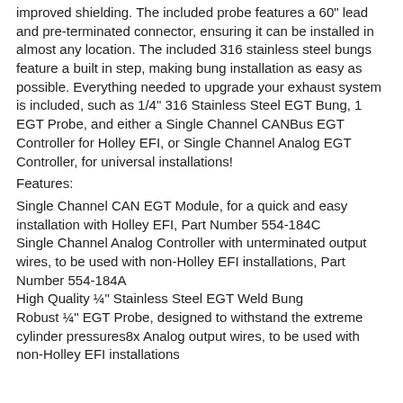improved shielding. The included probe features a 60" lead and pre-terminated connector, ensuring it can be installed in almost any location. The included 316 stainless steel bungs feature a built in step, making bung installation as easy as possible. Everything needed to upgrade your exhaust system is included, such as 1/4" 316 Stainless Steel EGT Bung, 1 EGT Probe, and either a Single Channel CANBus EGT Controller for Holley EFI, or Single Channel Analog EGT Controller, for universal installations!
Features:
Single Channel CAN EGT Module, for a quick and easy installation with Holley EFI, Part Number 554-184C
Single Channel Analog Controller with unterminated output wires, to be used with non-Holley EFI installations, Part Number 554-184A
High Quality ¼" Stainless Steel EGT Weld Bung
Robust ¼" EGT Probe, designed to withstand the extreme cylinder pressures8x Analog output wires, to be used with non-Holley EFI installations